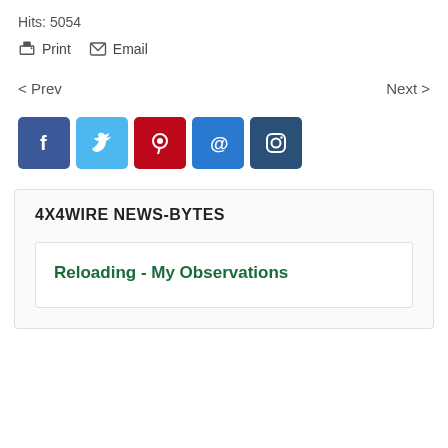Hits: 5054
Print  Email
< Prev   Next >
[Figure (infographic): Row of 5 social media share buttons: Facebook (dark blue), Twitter (light blue), Pinterest (dark red), Email (blue), Instagram (dark navy)]
4X4WIRE NEWS-BYTES
Reloading - My Observations